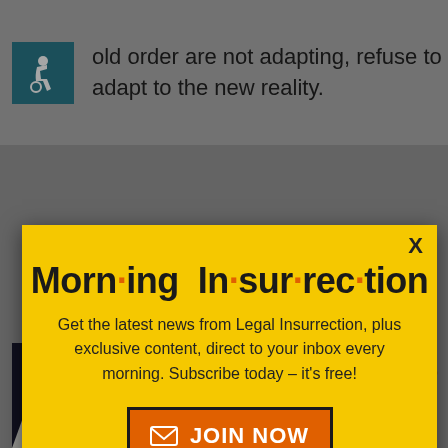old order are not adapting, refuse to adapt to the new reality.
[Figure (screenshot): Morning Insurrection newsletter popup overlay on Legal Insurrection website. Yellow popup with title 'Morn·ing In·sur·rec·tion', subscription pitch text, and JOIN NOW button. Background shows webpage with wheelchair icon, 'See, it's easy.' text, back to top link, and The Perspective advertisement banner at bottom.]
See, it's easy.
Back to top
2017 at 9:09 pm
Morn·ing In·sur·rec·tion
Get the latest news from Legal Insurrection, plus exclusive content, direct to your inbox every morning. Subscribe today – it's free!